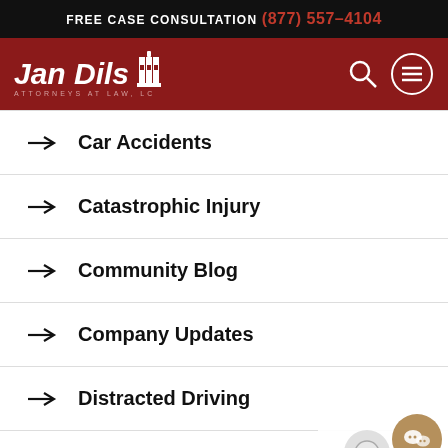FREE CASE CONSULTATION (877) 557-4104
[Figure (logo): Jan Dils Attorneys at Law LC logo with navigation search and menu icons on dark red background]
Car Accidents
Catastrophic Injury
Community Blog
Company Updates
Distracted Driving